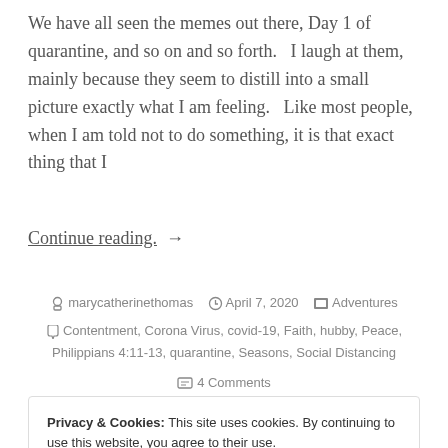We have all seen the memes out there, Day 1 of quarantine, and so on and so forth.   I laugh at them, mainly because they seem to distill into a small picture exactly what I am feeling.   Like most people, when I am told not to do something, it is that exact thing that I
Continue reading.  →
marycatherinethomas   April 7, 2020   Adventures
Contentment, Corona Virus, covid-19, Faith, hubby, Peace, Philippians 4:11-13, quarantine, Seasons, Social Distancing
4 Comments
Privacy & Cookies: This site uses cookies. By continuing to use this website, you agree to their use.
To find out more, including how to control cookies, see here: Cookie Policy
Close and accept